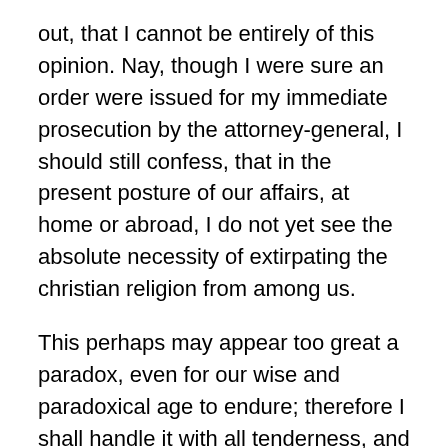out, that I cannot be entirely of this opinion. Nay, though I were sure an order were issued for my immediate prosecution by the attorney-general, I should still confess, that in the present posture of our affairs, at home or abroad, I do not yet see the absolute necessity of extirpating the christian religion from among us.
This perhaps may appear too great a paradox, even for our wise and paradoxical age to endure; therefore I shall handle it with all tenderness, and with the utmost deference to that great and profound majority, which is of another sentiment.
And yet the curious may please to observe, how much the genius of a nation is liable to alter in half an age: I have heard it affirmed for certain, by some very old people, that the contrary opinion was, even in their memories, as much in vogue, as the other is now; and that a project for the